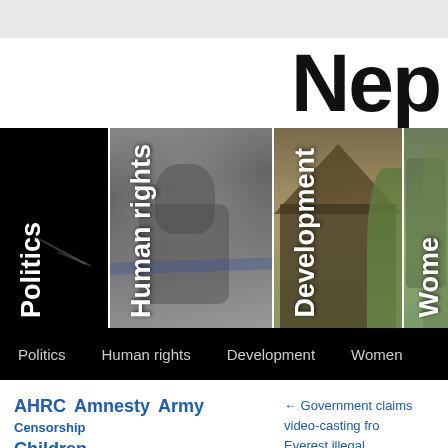Nep
[Figure (photo): Four category panels with vertical text labels: Politics (black background), Human rights (riot police photo), Development (rural structure photo), Women (outdoor photo, partially visible)]
Politics   Human rights   Development   Women
AHRC  Amnesty  Army  Censorship  Children
← Government claims video-casting from Everest illegal